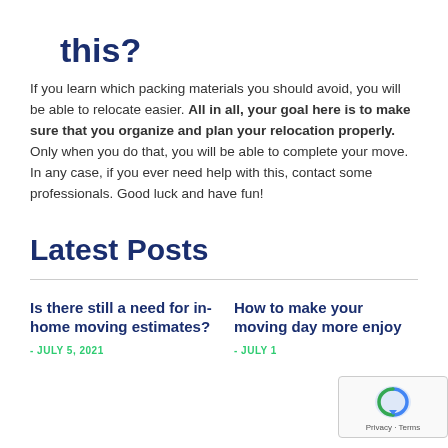this?
If you learn which packing materials you should avoid, you will be able to relocate easier. All in all, your goal here is to make sure that you organize and plan your relocation properly. Only when you do that, you will be able to complete your move. In any case, if you ever need help with this, contact some professionals. Good luck and have fun!
Latest Posts
Is there still a need for in-home moving estimates? - JULY 5, 2021
How to make your moving day more enjoy... - JULY 1...